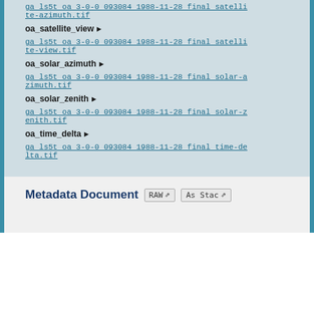ga ls5t oa 3-0-0 093084 1988-11-28 final satellite-azimuth.tif
oa_satellite_view
ga ls5t oa 3-0-0 093084 1988-11-28 final satellite-view.tif
oa_solar_azimuth
ga ls5t oa 3-0-0 093084 1988-11-28 final solar-azimuth.tif
oa_solar_zenith
ga ls5t oa 3-0-0 093084 1988-11-28 final solar-zenith.tif
oa_time_delta
ga ls5t oa 3-0-0 093084 1988-11-28 final time-delta.tif
Metadata Document